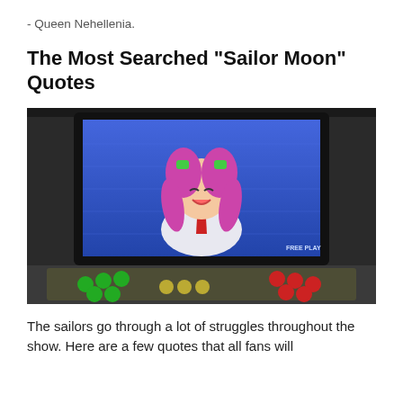- Queen Nehellenia.
The Most Searched "Sailor Moon" Quotes
[Figure (photo): An arcade cabinet featuring a Sailor Moon anime game. The monitor displays a cheerful anime girl character with pink twintails, green ribbons, wearing a white top with a red necktie, on a blue futuristic background. The cabinet's control panel shows green and red joystick buttons. Text 'FREE PLAY' visible on screen.]
The sailors go through a lot of struggles throughout the show. Here are a few quotes that all fans will